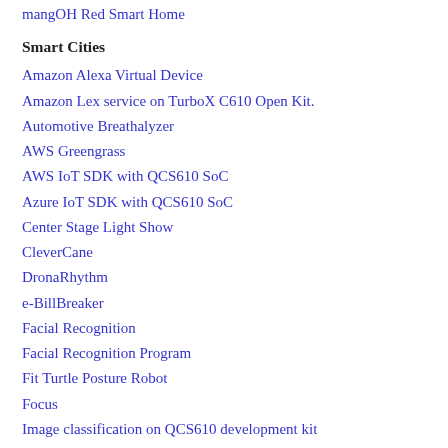mangOH Red Smart Home
Smart Cities
Amazon Alexa Virtual Device
Amazon Lex service on TurboX C610 Open Kit.
Automotive Breathalyzer
AWS Greengrass
AWS IoT SDK with QCS610 SoC
Azure IoT SDK with QCS610 SoC
Center Stage Light Show
CleverCane
DronaRhythm
e-BillBreaker
Facial Recognition
Facial Recognition Program
Fit Turtle Posture Robot
Focus
Image classification on QCS610 development kit
Li-Fi based Smart Retail
LTE for IoT Merch Cart